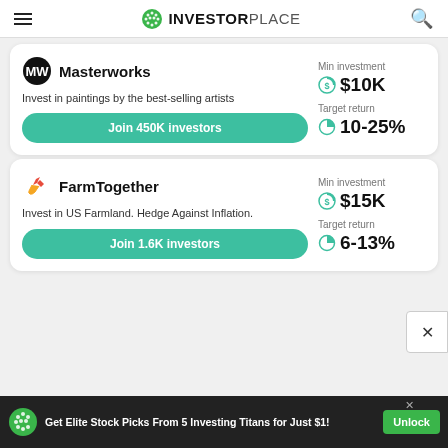INVESTORPLACE
Masterworks
Invest in paintings by the best-selling artists
Join 450K investors
Min investment $10K
Target return 10-25%
FarmTogether
Invest in US Farmland. Hedge Against Inflation.
Join 1.6K investors
Min investment $15K
Target return 6-13%
Get Elite Stock Picks From 5 Investing Titans for Just $1!